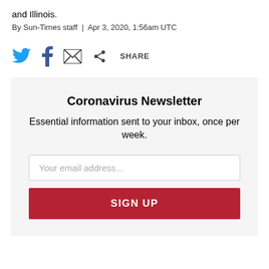and Illinois.
By Sun-Times staff | Apr 3, 2020, 1:56am UTC
[Figure (infographic): Social sharing icons: Twitter (blue bird), Facebook (f), email (envelope), share icon with text SHARE]
Coronavirus Newsletter
Essential information sent to your inbox, once per week.
Your email address...
SIGN UP